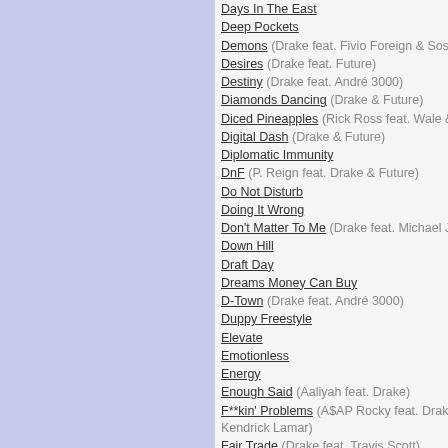Days In The East
Deep Pockets
Demons (Drake feat. Fivio Foreign & Sosa Geek)
Desires (Drake feat. Future)
Destiny (Drake feat. André 3000)
Diamonds Dancing (Drake & Future)
Diced Pineapples (Rick Ross feat. Wale & Drake)
Digital Dash (Drake & Future)
Diplomatic Immunity
DnF (P. Reign feat. Drake & Future)
Do Not Disturb
Doing It Wrong
Don't Matter To Me (Drake feat. Michael Jackson)
Down Hill
Draft Day
Dreams Money Can Buy
D-Town (Drake feat. André 3000)
Duppy Freestyle
Elevate
Emotionless
Energy
Enough Said (Aaliyah feat. Drake)
F**kin' Problems (A$AP Rocky feat. Drake, 2 Chainz, Kendrick Lamar)
Fair Trade (Drake feat. Travis Scott)
Faithful (Drake feat. Pimp C and DVSN)
Fake Love
Fall For Your Type (Jamie Foxx feat. Drake)
Falling Back
Fancy (Drake feat. T.I. & Swizz Beatz)
Fed Up (DJ Khaled feat. Usher, Drake, Young Jeezy, Rick Ross)
Feel Love (Sean Garrett feat. Drake)
Feel No Ways
Final Fantasy
Find Your Love
Finesse